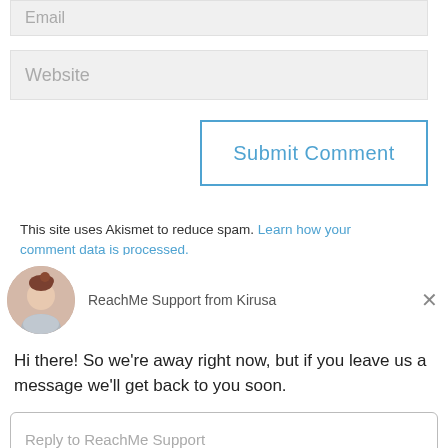Email
Website
Submit Comment
This site uses Akismet to reduce spam. Learn how your comment data is processed.
ReachMe Support from Kirusa
Hi there! So we're away right now, but if you leave us a message we'll get back to you soon.
Reply to ReachMe Support
Chat ⚡ by Drift